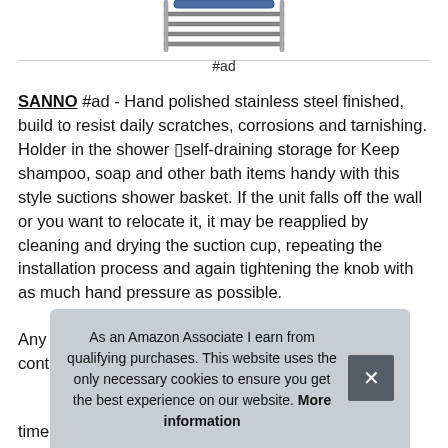[Figure (photo): Partial view of a stainless steel shower caddy/basket product image, cropped at top]
#ad
SANNO #ad - Hand polished stainless steel finished, build to resist daily scratches, corrosions and tarnishing. Holder in the shower ▯self-draining storage for Keep shampoo, soap and other bath items handy with this style suctions shower basket. If the unit falls off the wall or you want to relocate it, it may be reapplied by cleaning and drying the suction cup, repeating the installation process and again tightening the knob with as much hand pressure as possible.
Any dissatisfaction, please fell free to contact us. You will get: a st... acr... non... scre...
times over and removed without leaving residues.
As an Amazon Associate I earn from qualifying purchases. This website uses the only necessary cookies to ensure you get the best experience on our website. More information